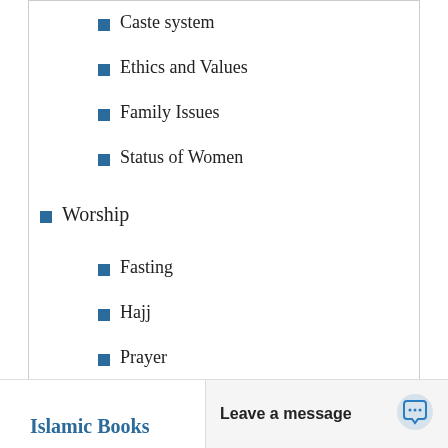Caste system
Ethics and Values
Family Issues
Status of Women
Worship
Fasting
Hajj
Prayer
Wisdom behind Islamic Rulings
Worship in Hinduism
Zakat
Islamic Books
Leave a message